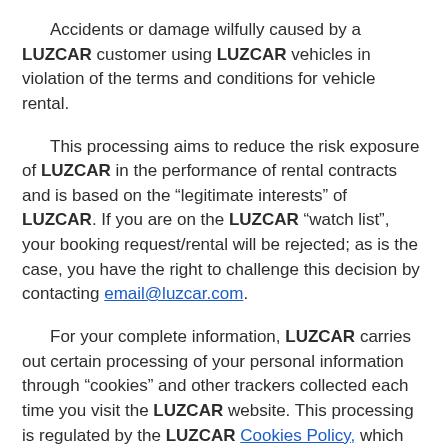Accidents or damage wilfully caused by a LUZCAR customer using LUZCAR vehicles in violation of the terms and conditions for vehicle rental.
This processing aims to reduce the risk exposure of LUZCAR in the performance of rental contracts and is based on the “legitimate interests” of LUZCAR. If you are on the LUZCAR “watch list”, your booking request/rental will be rejected; as is the case, you have the right to challenge this decision by contacting email@luzcar.com.
For your complete information, LUZCAR carries out certain processing of your personal information through “cookies” and other trackers collected each time you visit the LUZCAR website. This processing is regulated by the LUZCAR Cookies Policy, which we encourage you to   review. You can accept or decline these cookies and other trackers by following the